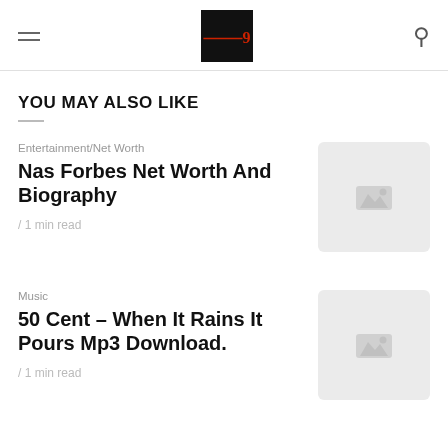Navigation header with hamburger menu, logo, and search icon
YOU MAY ALSO LIKE
Entertainment/Net Worth
Nas Forbes Net Worth And Biography
/ 1 min read
[Figure (photo): Placeholder thumbnail image for Nas Forbes Net Worth And Biography article]
Music
50 Cent – When It Rains It Pours Mp3 Download.
/ 1 min read
[Figure (photo): Placeholder thumbnail image for 50 Cent article]